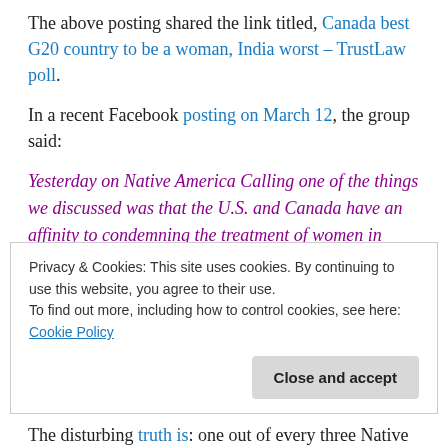The above posting shared the link titled, Canada best G20 country to be a woman, India worst – TrustLaw poll.
In a recent Facebook posting on March 12, the group said:
Yesterday on Native America Calling one of the things we discussed was that the U.S. and Canada have an affinity to condemning the treatment of women in other countries, and refuse to look in the mirror and acknowledge what's happening at home. This photo sums up that point. While previously working with Women
Privacy & Cookies: This site uses cookies. By continuing to use this website, you agree to their use.
To find out more, including how to control cookies, see here: Cookie Policy
The disturbing truth is: one out of every three Native